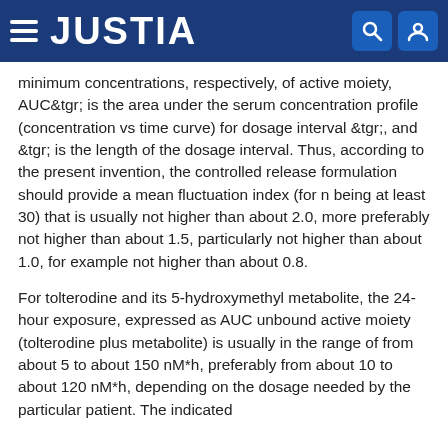JUSTIA
minimum concentrations, respectively, of active moiety, AUC&tgr; is the area under the serum concentration profile (concentration vs time curve) for dosage interval &tgr;, and &tgr; is the length of the dosage interval. Thus, according to the present invention, the controlled release formulation should provide a mean fluctuation index (for n being at least 30) that is usually not higher than about 2.0, more preferably not higher than about 1.5, particularly not higher than about 1.0, for example not higher than about 0.8.
For tolterodine and its 5-hydroxymethyl metabolite, the 24-hour exposure, expressed as AUC unbound active moiety (tolterodine plus metabolite) is usually in the range of from about 5 to about 150 nM*h, preferably from about 10 to about 120 nM*h, depending on the dosage needed by the particular patient. The indicated